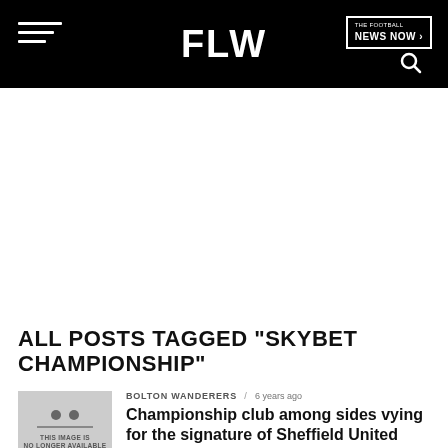FLW | News Now
ALL POSTS TAGGED "SKYBET CHAMPIONSHIP"
[Figure (other): Thumbnail image placeholder with text 'This image is no longer available']
BOLTON WANDERERS / 6 years ago
Championship club among sides vying for the signature of Sheffield United man